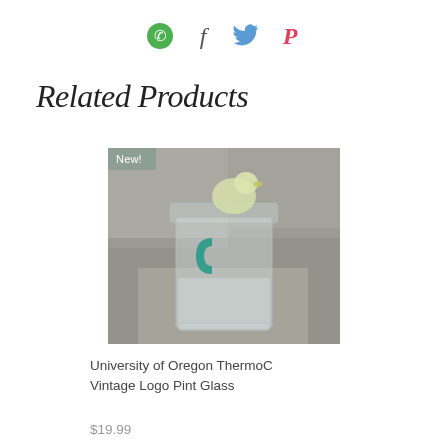[Figure (other): Social media share icons: WhatsApp (green circle with phone), Facebook (f), Twitter (bird), Pinterest (P)]
Related Products
[Figure (photo): Product photo of a University of Oregon ThermoC Vintage Logo Pint Glass. A clear pint glass with a green ThermoC duck logo, sitting on a marble surface. A 'New!' badge overlay in the top-left corner.]
University of Oregon ThermoC Vintage Logo Pint Glass
$19.99